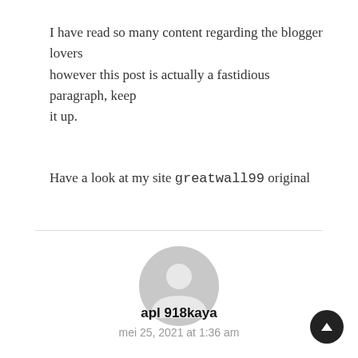I have read so many content regarding the blogger lovers however this post is actually a fastidious paragraph, keep it up.
Have a look at my site greatwall99 original
[Figure (illustration): Generic user avatar icon — grey circle with a person silhouette inside]
apl 918kaya
mei 25, 2021 at 1:36 am